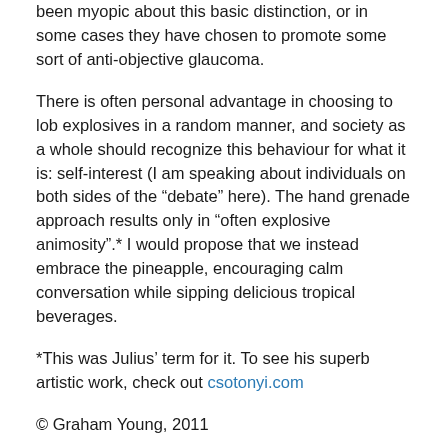been myopic about this basic distinction, or in some cases they have chosen to promote some sort of anti-objective glaucoma.
There is often personal advantage in choosing to lob explosives in a random manner, and society as a whole should recognize this behaviour for what it is: self-interest (I am speaking about individuals on both sides of the “debate” here). The hand grenade approach results only in “often explosive animosity”.* I would propose that we instead embrace the pineapple, encouraging calm conversation while sipping delicious tropical beverages.
*This was Julius’ term for it. To see his superb artistic work, check out csotonyi.com
© Graham Young, 2011